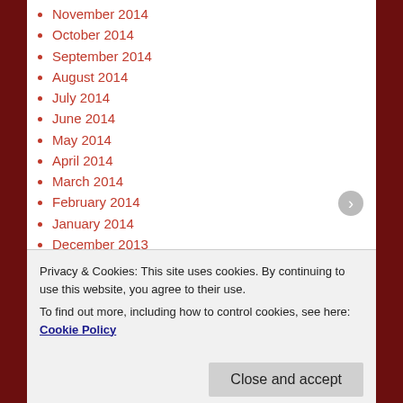November 2014
October 2014
September 2014
August 2014
July 2014
June 2014
May 2014
April 2014
March 2014
February 2014
January 2014
December 2013
November 2013
October 2013
September 2013
August 2013
July 2013
Privacy & Cookies: This site uses cookies. By continuing to use this website, you agree to their use. To find out more, including how to control cookies, see here: Cookie Policy
Close and accept